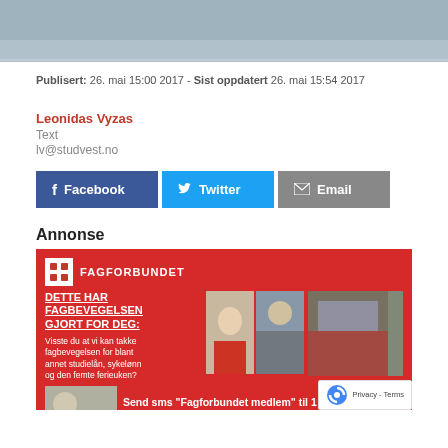[Figure (photo): Top banner photo — aerial/overhead snowy landscape scene cropped at top of page]
Publisert: 26. mai 15:00 2017 - Sist oppdatert 26. mai 15:54 2017
Leonidas Vyzas
Text
lv@studvest.no
[Figure (infographic): Share buttons: Facebook (blue), Twitter (light blue), Email (grey)]
Annonse
[Figure (infographic): Fagforbundet advertisement on red background. Text: DETTE HAR FAGBEVEGELSEN GJORT FOR DEG: Visste du at vi kan takke fagbevegelsen for blant annet studielån, sykelønn og den femte ferieuken? Send sms "Fagforbundet medlem" til 1... Allerede som ung er det viktig å fagorganisere seg, og... Photos of young people and a conference booth included.]